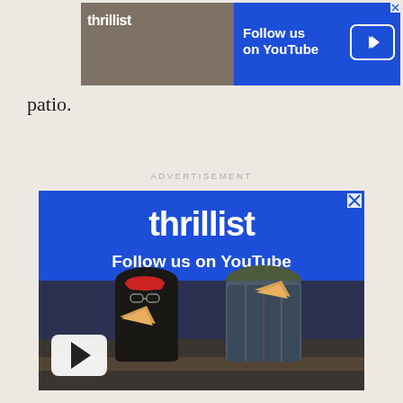[Figure (screenshot): Thrillist YouTube advertisement banner at top of page showing logo and Follow us on YouTube text with play button]
patio.
ADVERTISEMENT
[Figure (screenshot): Thrillist YouTube advertisement showing logo, Follow us on YouTube text, and two men eating pizza with YouTube play button overlay]